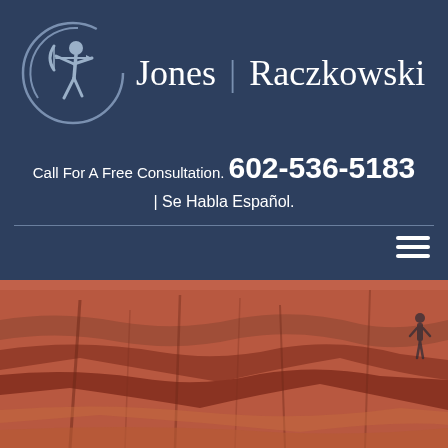[Figure (logo): Jones Raczkowski law firm logo: circular archer figure in blue-gray with firm name]
Call For A Free Consultation. 602-536-5183
| Se Habla Español.
[Figure (photo): Red rock canyon landscape photo background]